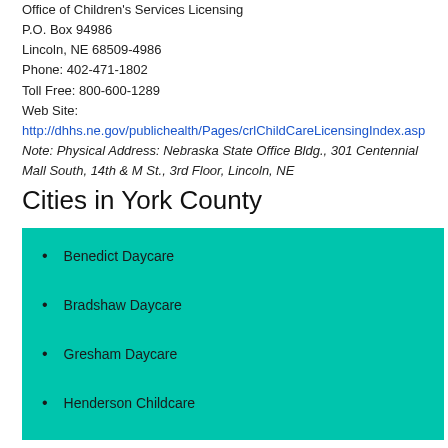Office of Children's Services Licensing
P.O. Box 94986
Lincoln, NE 68509-4986
Phone: 402-471-1802
Toll Free: 800-600-1289
Web Site:
http://dhhs.ne.gov/publichealth/Pages/crlChildCareLicensingIndex.aspx
Note: Physical Address: Nebraska State Office Bldg., 301 Centennial Mall South, 14th & M St., 3rd Floor, Lincoln, NE
Cities in York County
Benedict Daycare
Bradshaw Daycare
Gresham Daycare
Henderson Childcare